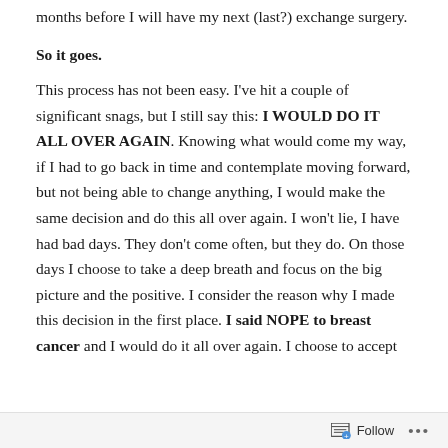months before I will have my next (last?) exchange surgery.
So it goes.
This process has not been easy. I've hit a couple of significant snags, but I still say this: I WOULD DO IT ALL OVER AGAIN. Knowing what would come my way, if I had to go back in time and contemplate moving forward, but not being able to change anything, I would make the same decision and do this all over again. I won't lie, I have had bad days. They don't come often, but they do. On those days I choose to take a deep breath and focus on the big picture and the positive. I consider the reason why I made this decision in the first place. I said NOPE to breast cancer and I would do it all over again. I choose to accept
Follow ...